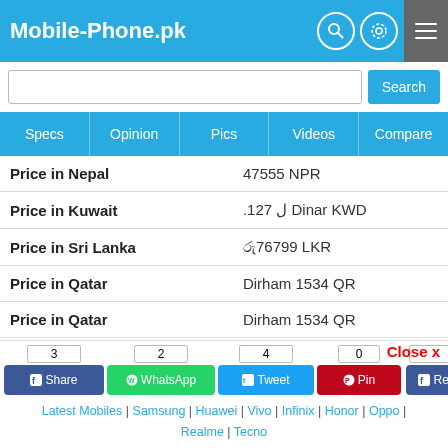Mobile-Phone.pk
| Country | Price |
| --- | --- |
| Price in Nepal | 47555 NPR |
| Price in Kuwait | .127 ل Dinar KWD |
| Price in Sri Lanka | රු76799 LKR |
| Price in Qatar | Dirham 1534 QR |
| Price in Qatar | Dirham 1534 QR |
| Price in Dubai | Dirham 1540 Dhs |
| Price in China | ¥ 2921 FEN Renminbi |
| Price in Russia | ₽ 25904 ruble рубль rubl RUB |
| Price in UK |  |
Close x
3 Share | 2 WhatsApp | 4 Tweet | 0 Pin | 0 Recommend
Latest Mobiles | Samsung | Huawei | Vivo | Infinix | Honor | Oppo | Realme | Tecno